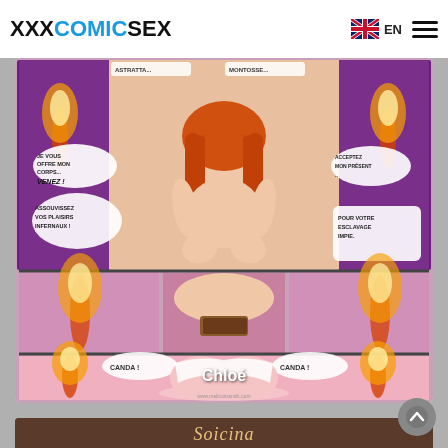XXXCOMICSEX  EN
[Figure (illustration): Comic illustration showing an anime-style female character with red/orange hair kneeling with speech bubbles in French: 'ASTRATTA... MONTOSSE...', 'JE VOUS OFFRE MON CORPS... VENEZ !', 'ASSOUVISSEZ VOS PLAISIRS INFERNAUX !', 'ACCEPTEZ MON PRÉSENT..', 'POUR VOTRE ESCLAVAGE IMPIE.', 'CANDA !', 'CANDA !'. Lower panel shows the character from behind. Website watermark: www.meliornancie.com. Caption: Chloé]
Chloé
[Figure (illustration): Partial view of second comic with title in stylized script lettering beginning with 'Soicina' on a dark brown background]